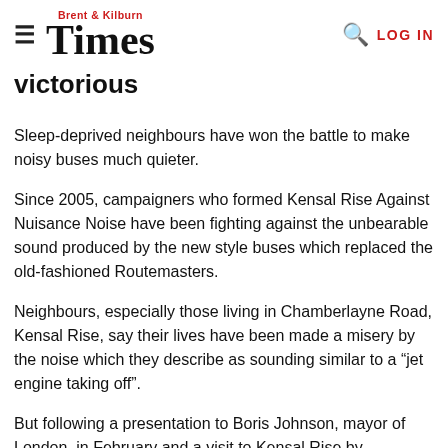Brent & Kilburn Times | LOG IN
victorious
Sleep-deprived neighbours have won the battle to make noisy buses much quieter.
Since 2005, campaigners who formed Kensal Rise Against Nuisance Noise have been fighting against the unbearable sound produced by the new style buses which replaced the old-fashioned Routemasters.
Neighbours, especially those living in Chamberlayne Road, Kensal Rise, say their lives have been made a misery by the noise which they describe as sounding similar to a “jet engine taking off”.
But following a presentation to Boris Johnson, mayor of London, in February and a visit to Kensal Rise by